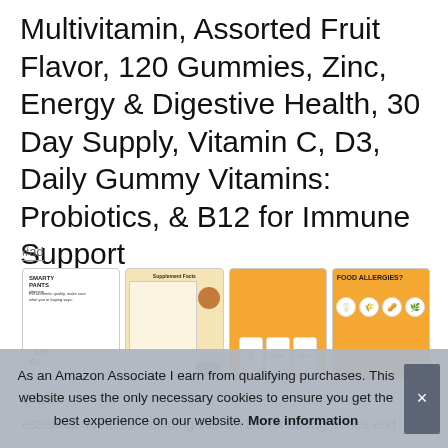Multivitamin, Assorted Fruit Flavor, 120 Gummies, Zinc, Energy & Digestive Health, 30 Day Supply, Vitamin C, D3, Daily Gummy Vitamins: Probiotics, & B12 for Immune Support
#ad
[Figure (photo): Four product thumbnail images: (1) SmartyPants vitamin label, (2) Supplement Facts panel with orange gummy, (3) Three white supplement bottles on orange background, (4) Food Allergies info panel on orange background]
Sma
essential nutrients including vitamin D3 for strong bones and
As an Amazon Associate I earn from qualifying purchases. This website uses the only necessary cookies to ensure you get the best experience on our website. More information